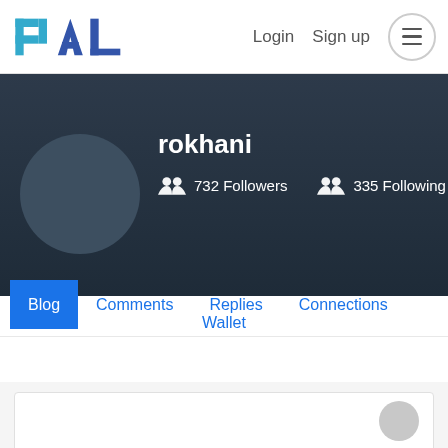PAL — Login  Sign up
[Figure (screenshot): PAL logo with teal and dark blue letters]
rokhani
732 Followers   335 Following
Blog
Comments
Replies
Connections
Wallet